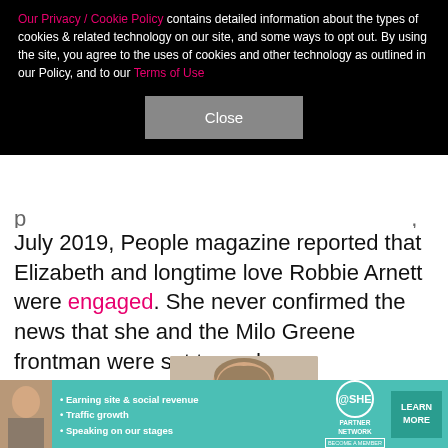Our Privacy / Cookie Policy contains detailed information about the types of cookies & related technology on our site, and some ways to opt out. By using the site, you agree to the uses of cookies and other technology as outlined in our Policy, and to our Terms of Use
Close
July 2019, People magazine reported that Elizabeth and longtime love Robbie Arnett were engaged. She never confirmed the news that she and the Milo Greene frontman were set to wed.
[Figure (photo): Photo of a man with brown hair at a writers event, seen from above shoulders]
RITERS
X
[Figure (infographic): SHE Partner Network advertisement banner with bullet points: Earning site & social revenue, Traffic growth, Speaking on our stages. LEARN MORE button.]